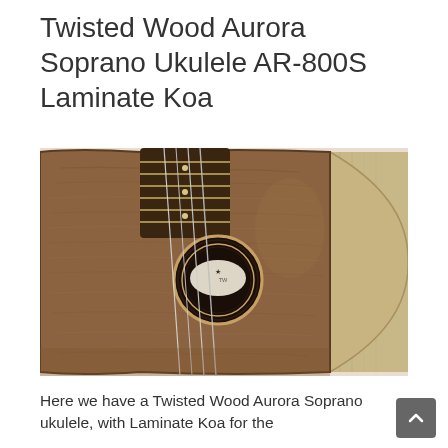Twisted Wood Aurora Soprano Ukulele AR-800S Laminate Koa
[Figure (photo): Close-up photo of a Twisted Wood Aurora Soprano Ukulele showing the body front with laminate Koa wood finish, sound hole with decorative rosette, four strings, and fretboard with frets and dot inlays. The side of the body shows a lighter wood (possibly maple) in contrast to the darker Koa top.]
Here we have a Twisted Wood Aurora Soprano ukulele, with Laminate Koa for the